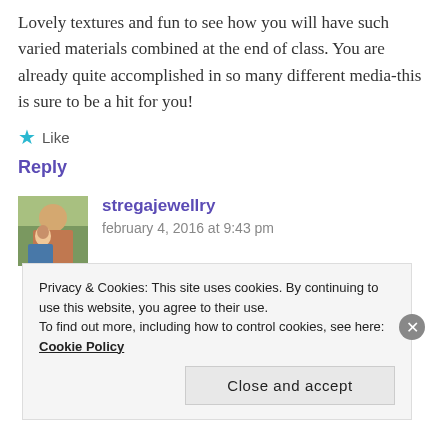Lovely textures and fun to see how you will have such varied materials combined at the end of class. You are already quite accomplished in so many different media-this is sure to be a hit for you!
★ Like
Reply
stregajewellry
february 4, 2016 at 9:43 pm
Privacy & Cookies: This site uses cookies. By continuing to use this website, you agree to their use.
To find out more, including how to control cookies, see here: Cookie Policy
Close and accept